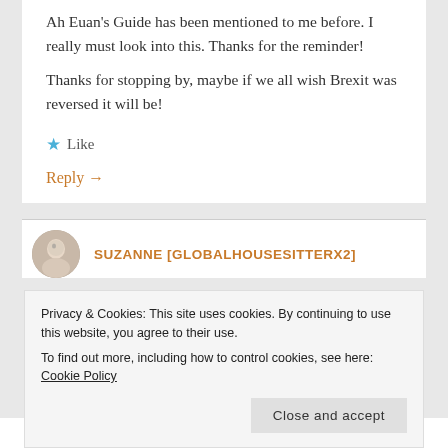Ah Euan's Guide has been mentioned to me before. I really must look into this. Thanks for the reminder! Thanks for stopping by, maybe if we all wish Brexit was reversed it will be!
★ Like
Reply →
SUZANNE [GLOBALHOUSESITTERX2]
Privacy & Cookies: This site uses cookies. By continuing to use this website, you agree to their use. To find out more, including how to control cookies, see here: Cookie Policy
Close and accept
posting the inspiring blog posts!